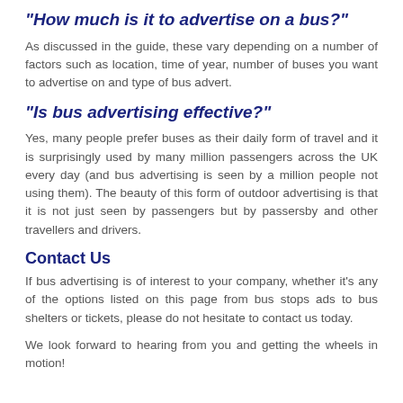"How much is it to advertise on a bus?"
As discussed in the guide, these vary depending on a number of factors such as location, time of year, number of buses you want to advertise on and type of bus advert.
"Is bus advertising effective?"
Yes, many people prefer buses as their daily form of travel and it is surprisingly used by many million passengers across the UK every day (and bus advertising is seen by a million people not using them). The beauty of this form of outdoor advertising is that it is not just seen by passengers but by passersby and other travellers and drivers.
Contact Us
If bus advertising is of interest to your company, whether it's any of the options listed on this page from bus stops ads to bus shelters or tickets, please do not hesitate to contact us today.
We look forward to hearing from you and getting the wheels in motion!